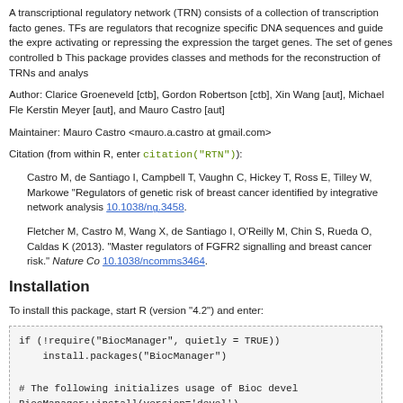A transcriptional regulatory network (TRN) consists of a collection of transcription factors and target genes. TFs are regulators that recognize specific DNA sequences and guide the expression of genes by activating or repressing the expression the target genes. The set of genes controlled by a TF is its regulon. This package provides classes and methods for the reconstruction of TRNs and analysis of master regulators.
Author: Clarice Groeneveld [ctb], Gordon Robertson [ctb], Xin Wang [aut], Michael Fletcher [aut], Kerstin Meyer [aut], and Mauro Castro [aut]
Maintainer: Mauro Castro <mauro.a.castro at gmail.com>
Citation (from within R, enter citation("RTN")):
Castro M, de Santiago I, Campbell T, Vaughn C, Hickey T, Ross E, Tilley W, Markowetz F, Caldas C and Ponder B (2015). "Regulators of genetic risk of breast cancer identified by integrative network analysis." Nature Genetics. doi: 10.1038/ng.3458.
Fletcher M, Castro M, Wang X, de Santiago I, O'Reilly M, Chin S, Rueda O, Caldas C, Ponder B, Natrajan R and Markowetz K (2013). "Master regulators of FGFR2 signalling and breast cancer risk." Nature Communications. doi: 10.1038/ncomms3464.
Installation
To install this package, start R (version "4.2") and enter:
if (!require("BiocManager", quietly = TRUE))
    install.packages("BiocManager")

# The following initializes usage of Bioc devel
BiocManager::install(version='devel')